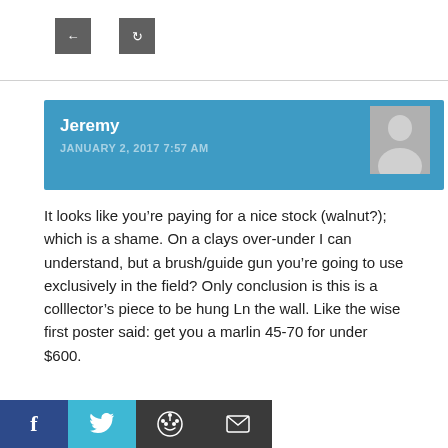[Figure (other): Two grey navigation buttons (back and forward arrows)]
Jeremy
JANUARY 2, 2017 7:57 AM
It looks like you’re paying for a nice stock (walnut?); which is a shame. On a clays over-under I can understand, but a brush/guide gun you’re going to use exclusively in the field? Only conclusion is this is a colllector’s piece to be hung Ln the wall. Like the wise first poster said: get you a marlin 45-70 for under $600.
[Figure (other): Social share bar with Facebook, Twitter, Reddit, and email icons]